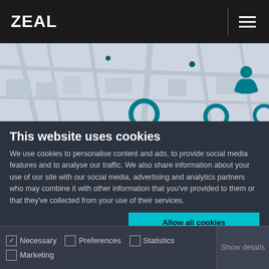ZEAL
[Figure (illustration): City map background with teal street lines and building outlines on a light gray background]
This website uses cookies
We use cookies to personalise content and ads, to provide social media features and to analyse our traffic. We also share information about your use of our site with our social media, advertising and analytics partners who may combine it with other information that you've provided to them or that they've collected from your use of their services.
Allow all cookies
Allow selection
Use necessary cookies only
Necessary   Preferences   Statistics   Marketing   Show details